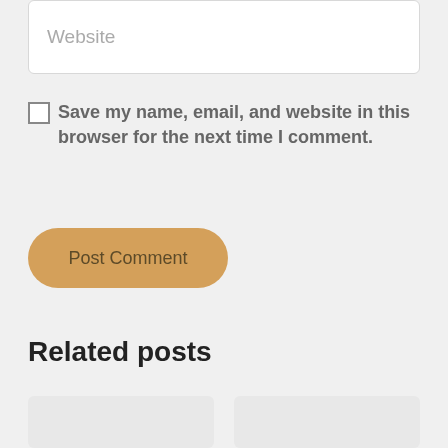[Figure (screenshot): Website input field with placeholder text 'Website']
Save my name, email, and website in this browser for the next time I comment.
[Figure (screenshot): Post Comment button, rounded, tan/golden color]
Related posts
[Figure (screenshot): Two partially visible related post card thumbnails at the bottom]